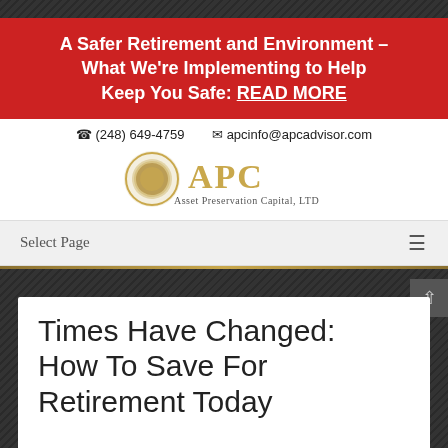A Safer Retirement and Environment – What We're Implementing to Help Keep You Safe: READ MORE
(248) 649-4759   apcinfo@apcadvisor.com
[Figure (logo): APC Asset Preservation Capital, LTD logo with gold circular emblem]
Select Page
Times Have Changed: How To Save For Retirement Today